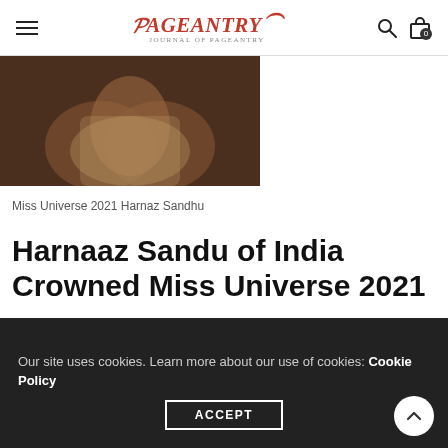PAGEANTRY
[Figure (photo): Close-up photo of Miss Universe 2021 Harnaz Sandhu, hands clasped at chest, wearing a sparkling gown, dark background.]
Miss Universe 2021 Harnaz Sandhu
Harnaaz Sandu of India Crowned Miss Universe 2021
Congratulations to the newly crowned Miss Universe Harnaaz Sandu of India. Harnaaz becomes the third
Our site uses cookies. Learn more about our use of cookies: Cookie Policy